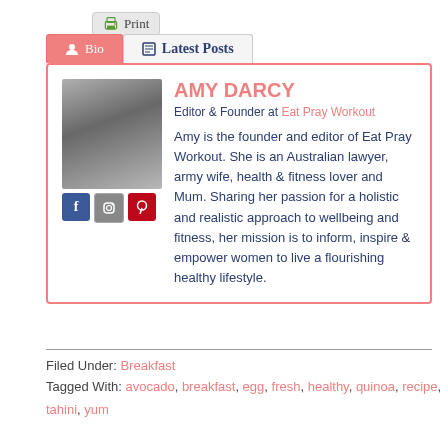[Figure (screenshot): Print button with printer icon]
[Figure (screenshot): Bio and Latest Posts tabs navigation]
[Figure (photo): Grayscale portrait photo of Amy Darcy with social media icons (Facebook, Instagram, Pinterest) below]
AMY DARCY
Editor & Founder at Eat Pray Workout
Amy is the founder and editor of Eat Pray Workout. She is an Australian lawyer, army wife, health & fitness lover and Mum. Sharing her passion for a holistic and realistic approach to wellbeing and fitness, her mission is to inform, inspire & empower women to live a flourishing healthy lifestyle.
Filed Under: Breakfast
Tagged With: avocado, breakfast, egg, fresh, healthy, quinoa, recipe, tahini, yum